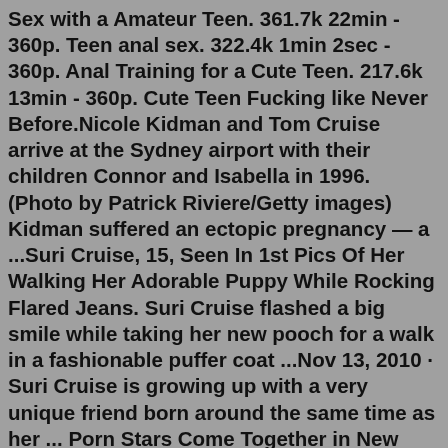Sex with a Amateur Teen. 361.7k 22min - 360p. Teen anal sex. 322.4k 1min 2sec - 360p. Anal Training for a Cute Teen. 217.6k 13min - 360p. Cute Teen Fucking like Never Before.Nicole Kidman and Tom Cruise arrive at the Sydney airport with their children Connor and Isabella in 1996. (Photo by Patrick Riviere/Getty images) Kidman suffered an ectopic pregnancy — a ...Suri Cruise, 15, Seen In 1st Pics Of Her Walking Her Adorable Puppy While Rocking Flared Jeans. Suri Cruise flashed a big smile while taking her new pooch for a walk in a fashionable puffer coat ...Nov 13, 2010 · Suri Cruise is growing up with a very unique friend born around the same time as her ... Porn Stars Come Together in New Jersey Kim Kardashian -- The Ultimate Kiss-Off Lil Wayne Superfan -- One Is ... The latest Tweets from Tom Cruise (@TomCruise). Actor. Producer. Running in movies since 1981.Nov 04, 2017 · Couples Cruise founders reveal new naked bowling alley for LA. Popular with Brits, the 2,000-passenger Couples Cruise was a success this year with loads of more...